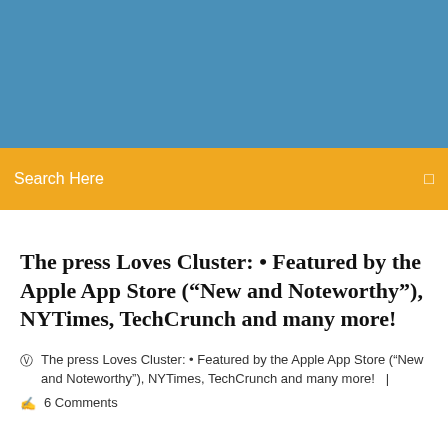[Figure (other): Blue header background banner]
Search Here
The press Loves Cluster: • Featured by the Apple App Store (“New and Noteworthy”), NYTimes, TechCrunch and many more!
The press Loves Cluster: • Featured by the Apple App Store (“New and Noteworthy”), NYTimes, TechCrunch and many more!  |  6 Comments